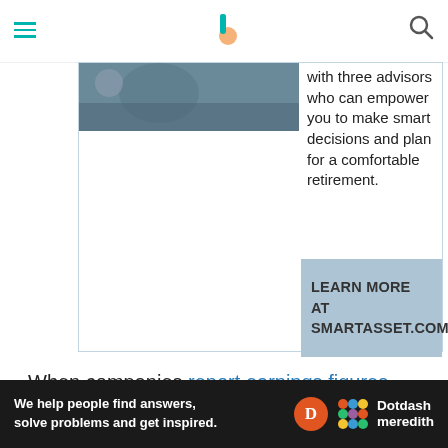Investopedia header with menu and logo
[Figure (screenshot): Advertisement box showing a photo of a person and text about advisors who can empower you to make smart decisions and plan for a comfortable retirement, with a call-to-action button LEARN MORE AT SMARTASSET.COM]
When companies report earnings figures, they will often break out pieces of information to show the growth of internal sales and revenue. It's common for a
[Figure (infographic): Dotdash Meredith bottom banner ad: We help people find answers, solve problems and get inspired.]